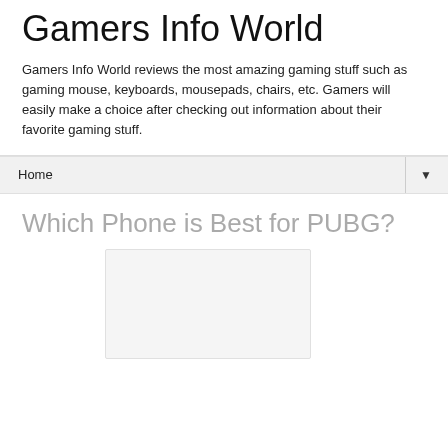Gamers Info World
Gamers Info World reviews the most amazing gaming stuff such as gaming mouse, keyboards, mousepads, chairs, etc. Gamers will easily make a choice after checking out information about their favorite gaming stuff.
Home ▼
Which Phone is Best for PUBG?
[Figure (other): Blank/placeholder image box]